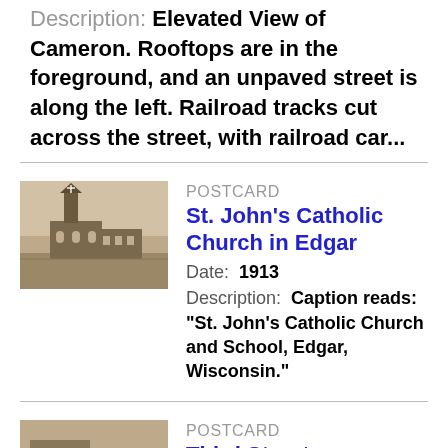Description: Elevated View of Cameron. Rooftops are in the foreground, and an unpaved street is along the left. Railroad tracks cut across the street, with railroad car...
[Figure (photo): Vintage sepia-toned postcard photograph of St. John's Catholic Church in Edgar, showing a church building with a tall steeple and adjacent school building.]
POSTCARD
St. John's Catholic Church in Edgar
Date: 1913
Description: Caption reads: "St. John's Catholic Church and School, Edgar, Wisconsin."
[Figure (photo): Partial view of another vintage postcard photograph, partially cut off at the bottom of the page.]
POSTCARD
Third Street...